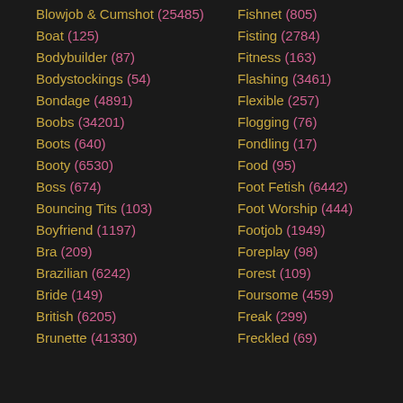Blowjob & Cumshot (25485)
Boat (125)
Bodybuilder (87)
Bodystockings (54)
Bondage (4891)
Boobs (34201)
Boots (640)
Booty (6530)
Boss (674)
Bouncing Tits (103)
Boyfriend (1197)
Bra (209)
Brazilian (6242)
Bride (149)
British (6205)
Brunette (41330)
Fishnet (805)
Fisting (2784)
Fitness (163)
Flashing (3461)
Flexible (257)
Flogging (76)
Fondling (17)
Food (95)
Foot Fetish (6442)
Foot Worship (444)
Footjob (1949)
Foreplay (98)
Forest (109)
Foursome (459)
Freak (299)
Freckled (69)